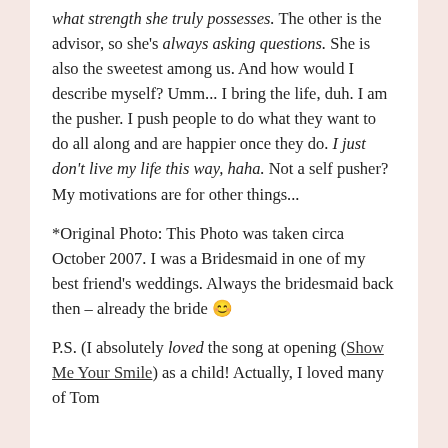what strength she truly possesses. The other is the advisor, so she's always asking questions. She is also the sweetest among us. And how would I describe myself? Umm... I bring the life, duh. I am the pusher. I push people to do what they want to do all along and are happier once they do. I just don't live my life this way, haha. Not a self pusher? My motivations are for other things...
*Original Photo: This Photo was taken circa October 2007. I was a Bridesmaid in one of my best friend's weddings. Always the bridesmaid back then – already the bride 😊
P.S. (I absolutely loved the song at opening (Show Me Your Smile) as a child! Actually, I loved many of Tom ...